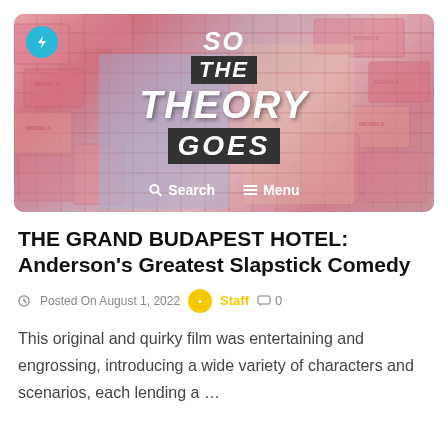[Figure (screenshot): Hero banner image for 'So The Theory Goes' website showing a scene from The Grand Budapest Hotel with two characters surrounded by pink boxes, overlaid with the site logo text 'SO THE THEORY GOES' and navigation links 'Search' and 'Menu'. A cyan lightning bolt icon appears in the top left.]
THE GRAND BUDAPEST HOTEL: Anderson's Greatest Slapstick Comedy
Posted On August 1, 2022   Staff   0
This original and quirky film was entertaining and engrossing, introducing a wide variety of characters and scenarios, each lending a …